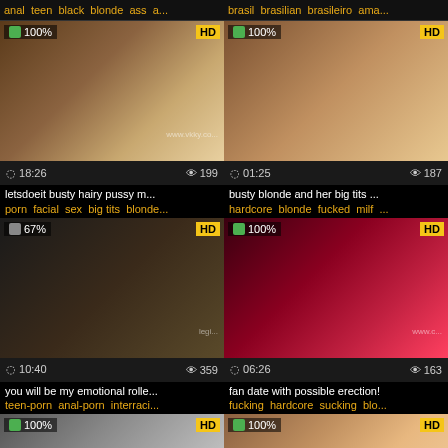anal teen black blonde ass a...
brasil brasilian brasileiro ama...
[Figure (screenshot): Video thumbnail brown tones, 100% likes, HD, 18:26 duration, 199 views, letsdoeit busty hairy pussy m...]
[Figure (screenshot): Video thumbnail warm skin tones, 100% likes, HD, 01:25 duration, 187 views, busty blonde and her big tits...]
letsdoeit busty hairy pussy m...
busty blonde and her big tits ...
porn facial sex big tits blonde...
hardcore blonde fucked milf ...
[Figure (screenshot): Video thumbnail dark tones showing figures, 67% likes, HD, 10:40 duration, 359 views, you will be my emotional rolle...]
[Figure (screenshot): Video thumbnail red/dark tones, 100% likes, HD, 06:26 duration, 163 views, fan date with possible erection!]
you will be my emotional rolle...
fan date with possible erection!
teen-porn anal-porn interraci...
fucking hardcore sucking blo...
[Figure (screenshot): Video thumbnail bathroom scene, 100% likes, HD, partial view]
[Figure (screenshot): Video thumbnail skin tones close-up, 100% likes, HD, partial view]